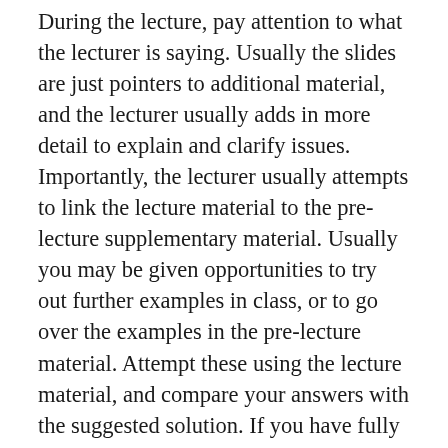During the lecture, pay attention to what the lecturer is saying. Usually the slides are just pointers to additional material, and the lecturer usually adds in more detail to explain and clarify issues. Importantly, the lecturer usually attempts to link the lecture material to the pre-lecture supplementary material. Usually you may be given opportunities to try out further examples in class, or to go over the examples in the pre-lecture material. Attempt these using the lecture material, and compare your answers with the suggested solution. If you have fully prepared during the Before-Lecture phase, working through the given examples should be relatively easy. As in all learning processes, there may be concepts that remain difficult to understand. Do not be afraid to raise